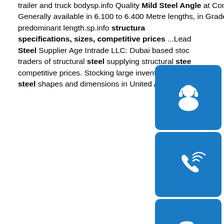trailer and truck bodysp.info Quality Mild Steel Angle at Competitive Prices - Metal ...Mild Steel Unequal Angle: Generally available in 6.100 to 6.400 Metre lengths, in Grade 43A; however in some of the larger sizes 12 Metres is the predominant length.sp.info structural specifications, sizes, competitive prices ...Leading Steel Supplier Age Intrade LLC: Dubai based stock traders of structural steel supplying structural steel competitive prices. Stocking large inventory of all steel shapes and dimensions in United Arab Emira
[Figure (illustration): Blue rounded square icon with white headset/customer support symbol]
[Figure (illustration): Blue rounded square icon with white phone/call symbol]
[Figure (illustration): Blue rounded square icon with white Skype logo symbol]
Welcome to Continental Steel Pte Ltd
This website provides you with the information of Structural Steel products in Singapore. Continental Steel has full range of Cold & Hot Finished Circular/ Square/ Rectangular Hollow
[Figure (photo): Industrial photograph of large steel coil rolls in a factory setting]